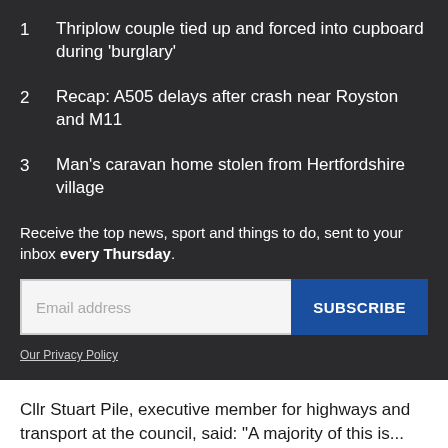1  Thriplow couple tied up and forced into cupboard during 'burglary'
2  Recap: A505 delays after crash near Royston and M11
3  Man's caravan home stolen from Hertfordshire village
Receive the top news, sport and things to do, sent to your inbox every Thursday.
Our Privacy Policy
Cllr Stuart Pile, executive member for highways and transport at the council, said: "A majority of this is...